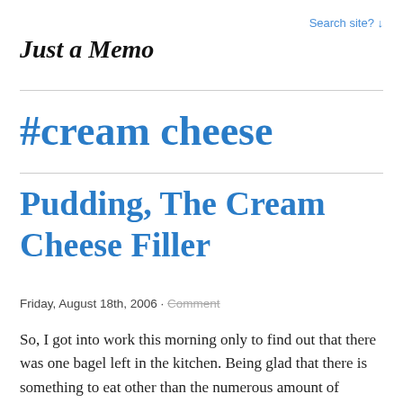Search site? ↓
Just a Memo
#cream cheese
Pudding, The Cream Cheese Filler
Friday, August 18th, 2006 · Comment
So, I got into work this morning only to find out that there was one bagel left in the kitchen. Being glad that there is something to eat other than the numerous amount of snacks in the cupboards, I found out that there was no more cream cheese. This, after the